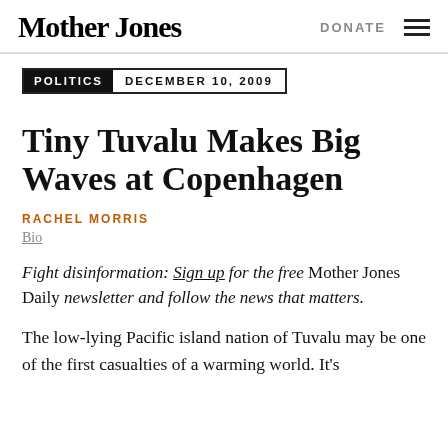Mother Jones | DONATE
POLITICS  DECEMBER 10, 2009
Tiny Tuvalu Makes Big Waves at Copenhagen
RACHEL MORRIS
Bio
Fight disinformation: Sign up for the free Mother Jones Daily newsletter and follow the news that matters.
The low-lying Pacific island nation of Tuvalu may be one of the first casualties of a warming world. It's